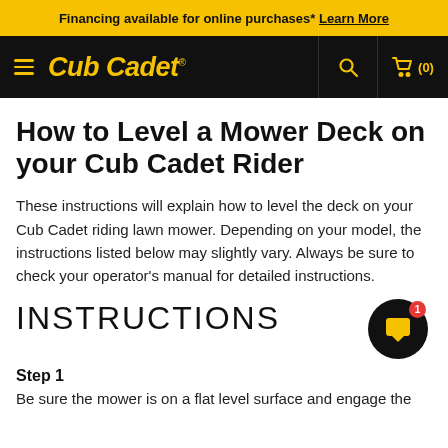Financing available for online purchases* Learn More
[Figure (logo): Cub Cadet logo in yellow italic text on black navigation bar with hamburger menu, search icon, and cart icon]
How to Level a Mower Deck on your Cub Cadet Rider
These instructions will explain how to level the deck on your Cub Cadet riding lawn mower. Depending on your model, the instructions listed below may slightly vary. Always be sure to check your operator's manual for detailed instructions.
INSTRUCTIONS
Step 1
Be sure the mower is on a flat level surface and engage the